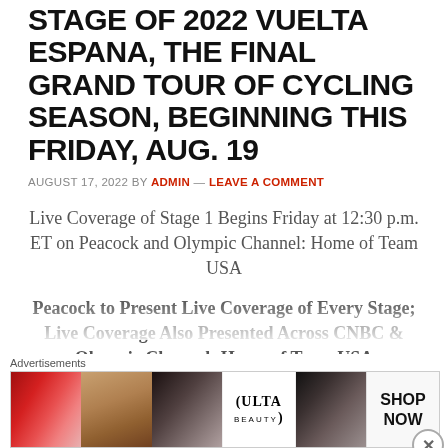STAGE OF 2022 VUELTA ESPANA, THE FINAL GRAND TOUR OF CYCLING SEASON, BEGINNING THIS FRIDAY, AUG. 19
AUGUST 17, 2022 BY ADMIN — LEAVE A COMMENT
Live Coverage of Stage 1 Begins Friday at 12:30 p.m. ET on Peacock and Olympic Channel: Home of Team USA
Peacock to Present Live Coverage of Every Stage; Live Coverage Also Presented Across CNBC & Olympic Channel: Home of Team USA
Advertisements
[Figure (photo): Ulta Beauty advertisement banner with makeup imagery (lips, brush, eye), Ulta logo, and SHOP NOW call to action]